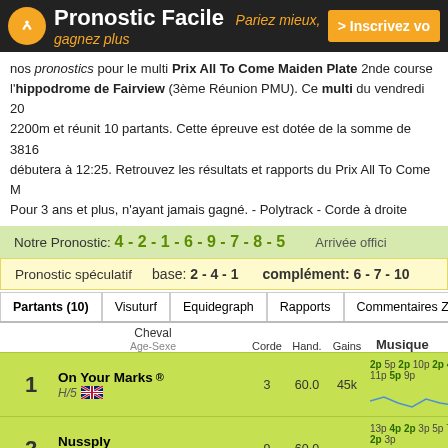Pronostic Facile — Pariez mieux, gagnez plus — > Inscrivez vo
nos pronostics pour le multi Prix All To Come Maiden Plate 2nde course à l'hippodrome de Fairview (3ème Réunion PMU). Ce multi du vendredi 20 2200m et réunit 10 partants. Cette épreuve est dotée de la somme de 3816 débutera à 12:25. Retrouvez les résultats et rapports du Prix All To Come M Pour 3 ans et plus, n'ayant jamais gagné. - Polytrack - Corde à droite
Notre Pronostic: 4 - 2 - 1 - 6 - 9 - 7 - 8 - 5   Arrivée offici
Pronostic spéculatif   base: 2 - 4 - 1   complément: 6 - 7 - 10
| Partants (10) | Visuturf | Equidegraph | Rapports | Commentaires Ze |
| --- | --- | --- | --- | --- |
|  | Cheval / Age-Sexe | Corde | Hand. | Gains | Musique |
| --- | --- | --- | --- | --- | --- |
| 1 | On Your Marks ® H/5 🇬🇧 | 3 | 60.0 | 45k | 2p 5p 2p 10p 2p 4p (20) 11p 5p 9p |
| 2 | Nussply H/6 | 9 | 60.0 | - | 13p 4p 2p 3p 5p 7p 2p 4p 2p 3p |
| 3 | Galapagos Hotspot M/5 | 4 | 60.0 | - | 10p 4p 9p 5p 4p 9p 6p (20) 9p |